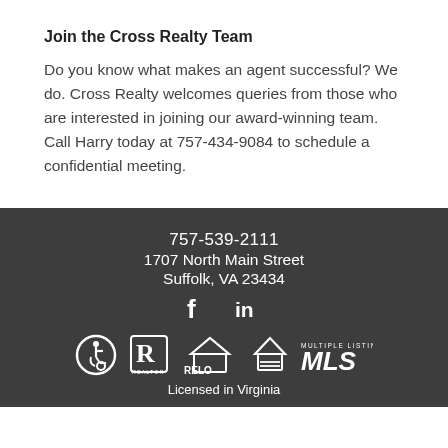Join the Cross Realty Team
Do you know what makes an agent successful? We do. Cross Realty welcomes queries from those who are interested in joining our award-winning team. Call Harry today at 757-434-9084 to schedule a confidential meeting.
757-539-2111
1707 North Main Street
Suffolk, VA 23434
Licensed in Virginia